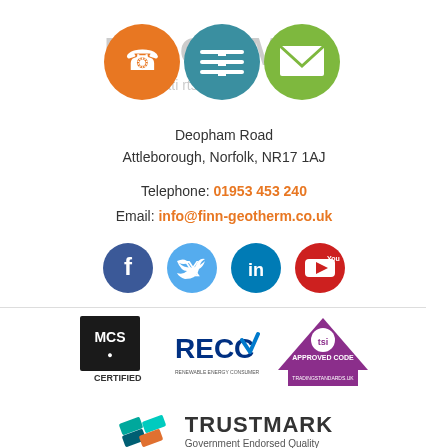[Figure (logo): Finn Geotherm logo with icons for phone, menu/navigation, and email overlapping circles in orange, teal, and green with partial text 'renewable heating experts']
Deopham Road
Attleborough, Norfolk, NR17 1AJ
Telephone: 01953 453 240
Email: info@finn-geotherm.co.uk
[Figure (infographic): Social media icons: Facebook (dark blue), Twitter (light blue), LinkedIn (teal), YouTube (red)]
[Figure (logo): MCS Certified logo - black square with MCS text and CERTIFIED below]
[Figure (logo): RECC logo - Renewable Energy Consumer Code with checkmark]
[Figure (logo): TSI Approved Code - Trading Standards UK logo with purple triangle]
[Figure (logo): TrustMark Government Endorsed Quality logo with teal geometric icon]